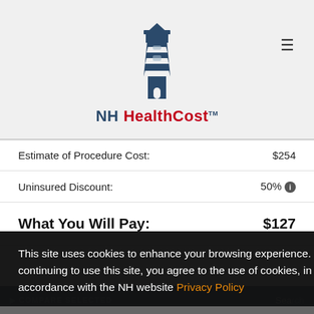[Figure (logo): NH HealthCost lighthouse logo with text 'NH HealthCost TM']
| Estimate of Procedure Cost: | $254 |
| Uninsured Discount: | 50% ⓘ |
| What You Will Pay: | $127 |
This site uses cookies to enhance your browsing experience. By continuing to use this site, you agree to the use of cookies, in accordance with the NH website Privacy Policy
OK ✓
$337
© COMPARE SELECTED   Search